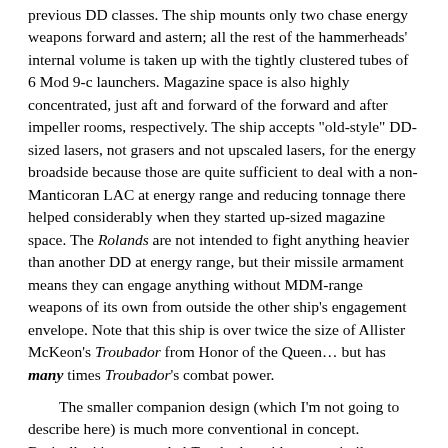previous DD classes. The ship mounts only two chase energy weapons forward and astern; all the rest of the hammerheads' internal volume is taken up with the tightly clustered tubes of 6 Mod 9-c launchers. Magazine space is also highly concentrated, just aft and forward of the forward and after impeller rooms, respectively. The ship accepts "old-style" DD-sized lasers, not grasers and not upscaled lasers, for the energy broadside because those are quite sufficient to deal with a non-Manticoran LAC at energy range and reducing tonnage there helped considerably when they started up-sized magazine space. The Rolands are not intended to fight anything heavier than another DD at energy range, but their missile armament means they can engage anything without MDM-range weapons of its own from outside the other ship's engagement envelope. Note that this ship is over twice the size of Allister McKeon's Troubador from Honor of the Queen… but has many times Troubador's combat power.
The smaller companion design (which I'm not going to describe here) is much more conventional in concept. Basically, it's an upscaled Troubador with more missile-defense capability but without any